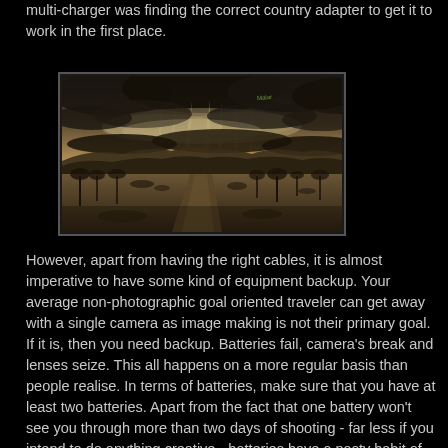multi-charger was finding the correct country adapter to get it to work in the first place.
[Figure (photo): Panoramic landscape photograph showing an African savanna scene with a dirt road leading into the distance, sparse trees, rolling hills, and dramatic cloud rays of light breaking through an overcast sky. A watermark/signature is visible in the upper right corner of the image.]
However, apart from having the right cables, it is almost imperative to have some kind of equipment backup. Your average non-photographic goal oriented traveler can get away with a single camera as image making is not their primary goal. If it is, then you need backup. Batteries fail, camera's break and lenses seize. This all happens on a more regular basis than people realise. In terms of batteries, make sure that you have at least two batteries. Apart from the fact that one battery won't see you through more than two days of shooting - far less if you intend to do anything creative - batteries have a nasty habit of just not working